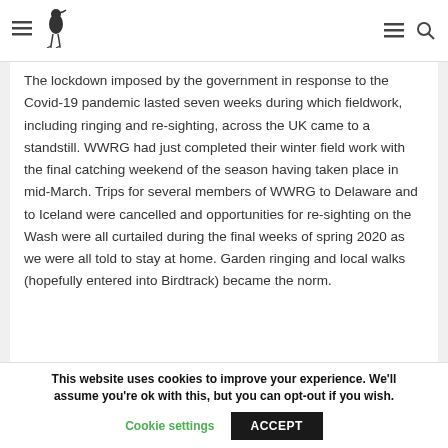[Navigation header with hamburger menu, bird logo, hamburger menu, search icon]
The lockdown imposed by the government in response to the Covid-19 pandemic lasted seven weeks during which fieldwork, including ringing and re-sighting, across the UK came to a standstill. WWRG had just completed their winter field work with the final catching weekend of the season having taken place in mid-March. Trips for several members of WWRG to Delaware and to Iceland were cancelled and opportunities for re-sighting on the Wash were all curtailed during the final weeks of spring 2020 as we were all told to stay at home. Garden ringing and local walks (hopefully entered into Birdtrack) became the norm.
This website uses cookies to improve your experience. We'll assume you're ok with this, but you can opt-out if you wish.
Cookie settings   ACCEPT